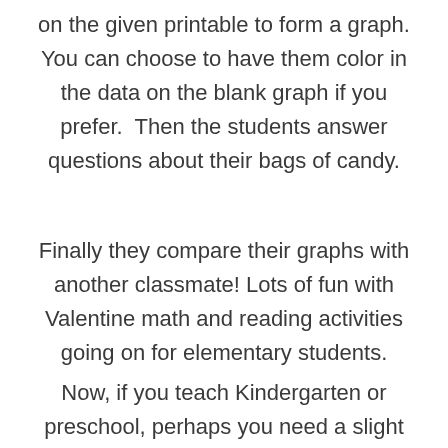on the given printable to form a graph. You can choose to have them color in the data on the blank graph if you prefer.  Then the students answer questions about their bags of candy.
Finally they compare their graphs with another classmate! Lots of fun with Valentine math and reading activities going on for elementary students.
Now, if you teach Kindergarten or preschool, perhaps you need a slight